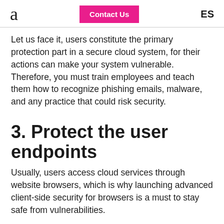a  Contact Us  ES
Let us face it, users constitute the primary protection part in a secure cloud system, for their actions can make your system vulnerable. Therefore, you must train employees and teach them how to recognize phishing emails, malware, and any practice that could risk security.
3. Protect the user endpoints
Usually, users access cloud services through website browsers, which is why launching advanced client-side security for browsers is a must to stay safe from vulnerabilities.